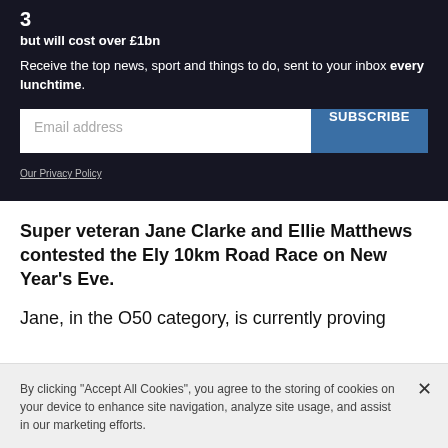3
but will cost over £1bn
Receive the top news, sport and things to do, sent to your inbox every lunchtime.
Our Privacy Policy
Super veteran Jane Clarke and Ellie Matthews contested the Ely 10km Road Race on New Year's Eve.
Jane, in the O50 category, is currently proving
By clicking "Accept All Cookies", you agree to the storing of cookies on your device to enhance site navigation, analyze site usage, and assist in our marketing efforts.